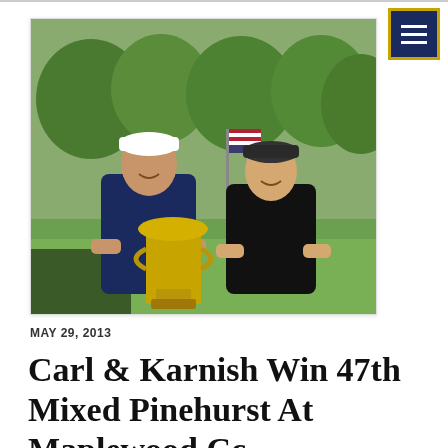[Figure (photo): Two golfers, a man and a woman, standing on a golf course holding a large silver trophy cup. The man is on the left wearing a navy polo shirt and a white Titleist cap. The woman is on the right wearing a black polo shirt and a dark cap. An American flag is visible in the background along with green trees and grass.]
MAY 29, 2013
Carl & Karnish Win 47th Mixed Pinehurst At Maplewood Cc